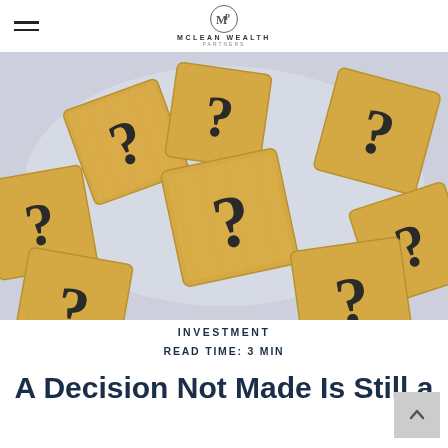McLean Wealth Partners
[Figure (photo): Wooden Scrabble-like tiles with question marks scattered on a light blue-grey background, photographed from above. Multiple tiles showing question mark symbols at various angles.]
INVESTMENT
READ TIME: 3 MIN
A Decision Not Made Is Still a